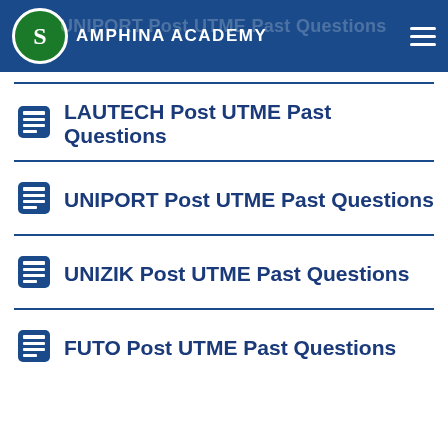AMPHINA ACADEMY
LAUTECH Post UTME Past Questions
UNIPORT Post UTME Past Questions
UNIZIK Post UTME Past Questions
FUTO Post UTME Past Questions